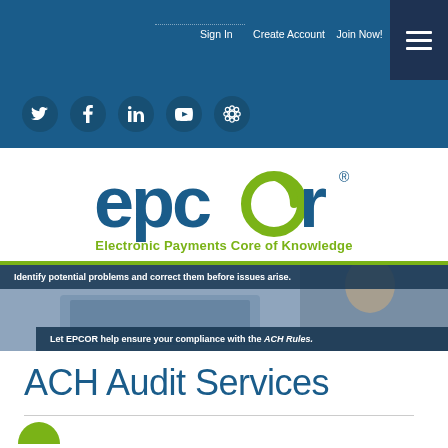Sign In   Create Account   Join Now!
[Figure (logo): Social media icons: Twitter, Facebook, LinkedIn, YouTube, and one additional icon on dark blue background]
[Figure (logo): EPCOR logo - Electronic Payments Core of Knowledge. Blue text 'epcor' with green circular icon replacing the letter 'o', registered trademark symbol, and green tagline text below.]
[Figure (photo): Banner image showing person working on laptop with dark blue overlay text: 'Identify potential problems and correct them before issues arise.' and 'Let EPCOR help ensure your compliance with the ACH Rules.']
ACH Audit Services